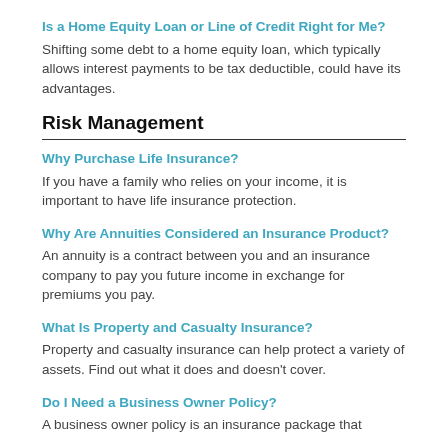Is a Home Equity Loan or Line of Credit Right for Me?
Shifting some debt to a home equity loan, which typically allows interest payments to be tax deductible, could have its advantages.
Risk Management
Why Purchase Life Insurance?
If you have a family who relies on your income, it is important to have life insurance protection.
Why Are Annuities Considered an Insurance Product?
An annuity is a contract between you and an insurance company to pay you future income in exchange for premiums you pay.
What Is Property and Casualty Insurance?
Property and casualty insurance can help protect a variety of assets. Find out what it does and doesn't cover.
Do I Need a Business Owner Policy?
A business owner policy is an insurance package that